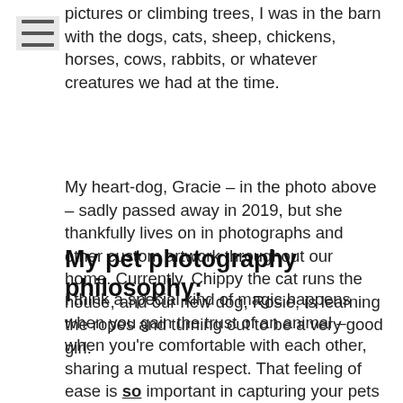pictures or climbing trees, I was in the barn with the dogs, cats, sheep, chickens, horses, cows, rabbits, or whatever creatures we had at the time.
My heart-dog, Gracie – in the photo above – sadly passed away in 2019, but she thankfully lives on in photographs and other custom artwork throughout our home. Currently, Chippy the cat runs the house, and our new dog, Rosie, is learning the ropes and turning out to be a very good girl.
My pet photography philosophy:
I think a special kind of magic happens when you gain the trust of an animal – when you're comfortable with each other, sharing a mutual respect. That feeling of ease is so important in capturing your pets as you want to remember